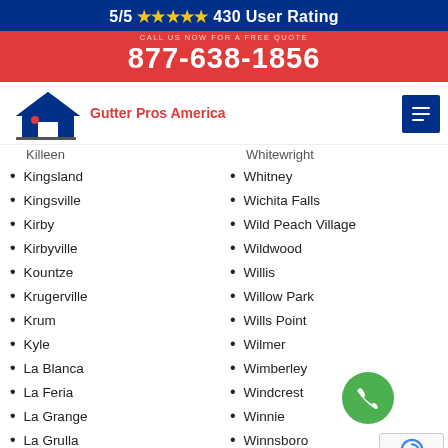5/5 ★★★★★ 430 User Rating
877-638-1856
[Figure (logo): Gutter Pros America logo with house icon in dark blue and red]
Killeen
Whitewright
Kingsland
Whitney
Kingsville
Wichita Falls
Kirby
Wild Peach Village
Kirbyville
Wildwood
Kountze
Willis
Krugerville
Willow Park
Krum
Wills Point
Kyle
Wilmer
La Blanca
Wimberley
La Feria
Windcrest
La Grange
Winnie
La Grulla
Winnsboro
La Homa
Winters